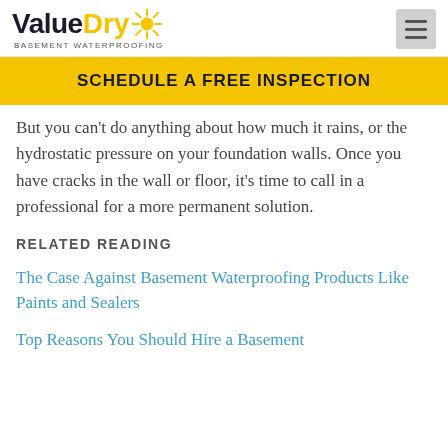ValueDry Basement Waterproofing
SCHEDULE A FREE INSPECTION
But you can't do anything about how much it rains, or the hydrostatic pressure on your foundation walls. Once you have cracks in the wall or floor, it's time to call in a professional for a more permanent solution.
RELATED READING
The Case Against Basement Waterproofing Products Like Paints and Sealers
Top Reasons You Should Hire a Basement